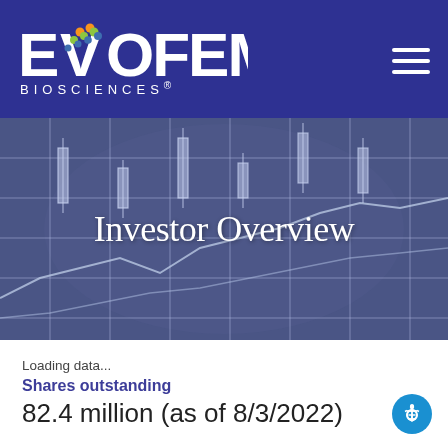[Figure (logo): Evofem Biosciences logo with hamburger menu on blue header bar]
[Figure (screenshot): Hero banner with stock chart background graphic and 'Investor Overview' title text]
Loading data...
Shares outstanding
82.4 million (as of 8/3/2022)